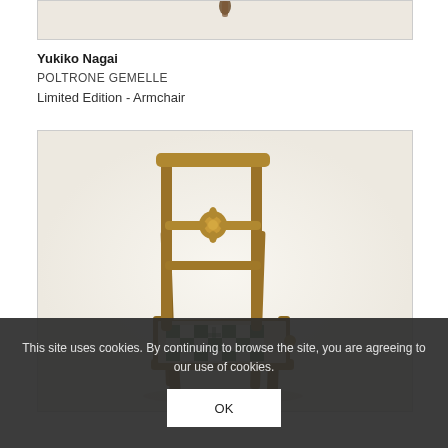[Figure (photo): Partial view of an armchair or furniture piece, cropped at top of page showing only the bottom portion]
Yukiko Nagai
POLTRONE GEMELLE
Limited Edition - Armchair
[Figure (photo): Wooden chair with ladder back and carved floral central rail, seat cushion with green and white checkered pattern, photographed at slight angle on white background]
This site uses cookies. By continuing to browse the site, you are agreeing to our use of cookies.